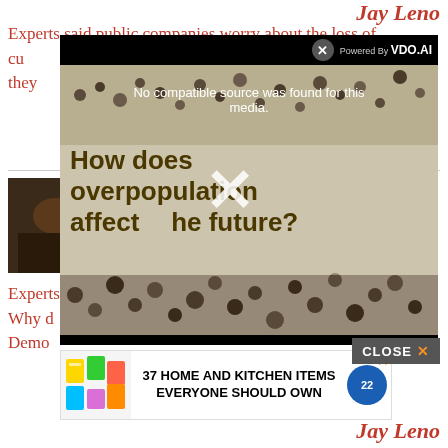Jay Leno
Experts said public companies worry about the loss of customer confidence and the liability to shareholders when they
[Figure (screenshot): Video player overlay showing 'No compatible source was found for this media.' with a crowd image and text 'How does overpopulation affect the future?' and a large X button. Powered By VDO.AI branding shown. Below is a CLOSE button and an advertisement for '37 HOME AND KITCHEN ITEMS EVERYONE SHOULD OWN'.]
Experts and now is to politically humiliate Saddam Hussein. Why Democrats
Jay Leno